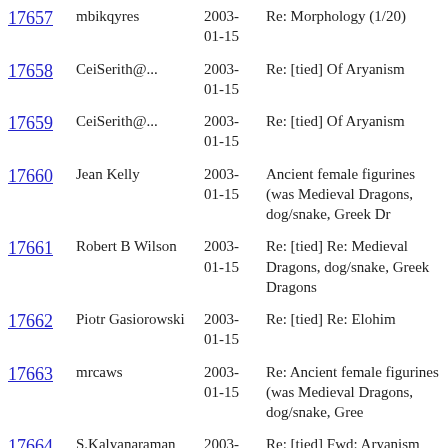| ID | Author | Date | Subject |
| --- | --- | --- | --- |
| 17657 | mbikqyres | 2003-01-15 | Re: Morphology (1/20) |
| 17658 | CeiSerith@... | 2003-01-15 | Re: [tied] Of Aryanism |
| 17659 | CeiSerith@... | 2003-01-15 | Re: [tied] Of Aryanism |
| 17660 | Jean Kelly | 2003-01-15 | Ancient female figurines (was Medieval Dragons, dog/snake, Greek Dr |
| 17661 | Robert B Wilson | 2003-01-15 | Re: [tied] Re: Medieval Dragons, dog/snake, Greek Dragons |
| 17662 | Piotr Gasiorowski | 2003-01-15 | Re: [tied] Re: Elohim |
| 17663 | mrcaws | 2003-01-15 | Re: Ancient female figurines (was Medieval Dragons, dog/snake, Gree |
| 17664 | S.Kalyanaraman | 2003-01-16 | Re: [tied] Fwd: Aryanism and Journal of Indo-European Studies |
| 17665 | danjmi | 2003-01-16 | Re: caste |
| 17666 | vishalsagarwal | 2003-01-16 | Re: caste |